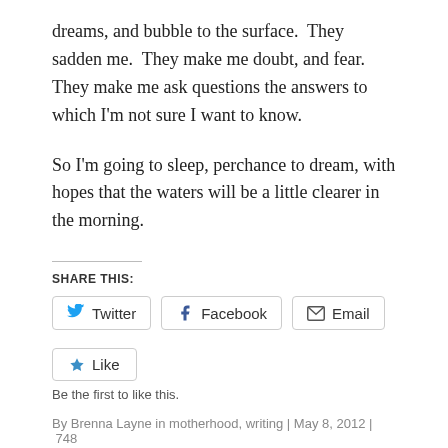dreams, and bubble to the surface.  They sadden me.  They make me doubt, and fear.  They make me ask questions the answers to which I'm not sure I want to know.
So I'm going to sleep, perchance to dream, with hopes that the waters will be a little clearer in the morning.
SHARE THIS:
[Figure (other): Social share buttons: Twitter, Facebook, Email]
[Figure (other): Like button]
Be the first to like this.
By Brenna Layne in motherhood, writing | May 8, 2012 | 748